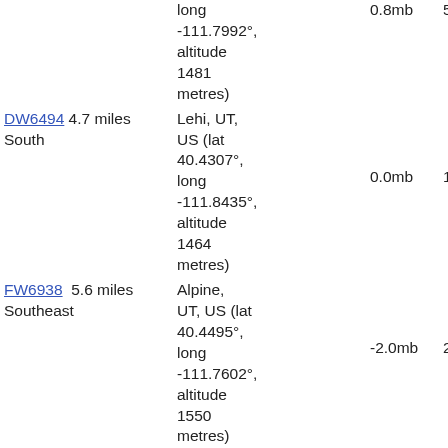| Station | Location | Pressure | Value |
| --- | --- | --- | --- |
|  | long -111.7992°, altitude 1481 metres) | 0.8mb | 5.9 |
| DW6494  4.7 miles South | Lehi, UT, US (lat 40.4307°, long -111.8435°, altitude 1464 metres) | 0.0mb | 1.7 |
| FW6938  5.6 miles Southeast | Alpine, UT, US (lat 40.4495°, long -111.7602°, altitude 1550 metres) | -2.0mb | 2.9 |
| CW8880  5.6 miles West | Riverton, UT, US (lat 40.5070° |  |  |